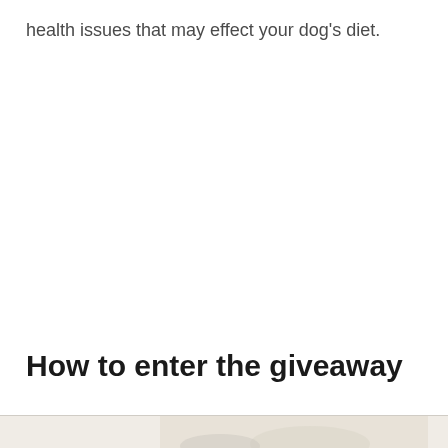health issues that may effect your dog's diet.
How to enter the giveaway
[Figure (photo): Partial photo of what appears to be a white/light-colored dog or food item against a light background, visible at bottom of page]